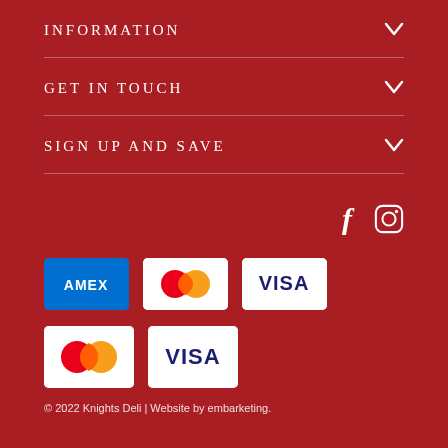INFORMATION
GET IN TOUCH
SIGN UP AND SAVE
[Figure (illustration): Social media icons: Facebook (f) and Instagram (camera/circle icon) in white on dark red background]
[Figure (illustration): Payment method logos: AMEX (blue), Mastercard (red/orange circles), VISA (blue text) on white badge backgrounds]
[Figure (illustration): Payment method logos: Mastercard (red/orange circles), VISA (blue text) on white badge backgrounds - larger size]
© 2022 Knights Deli | Website by embarketing.